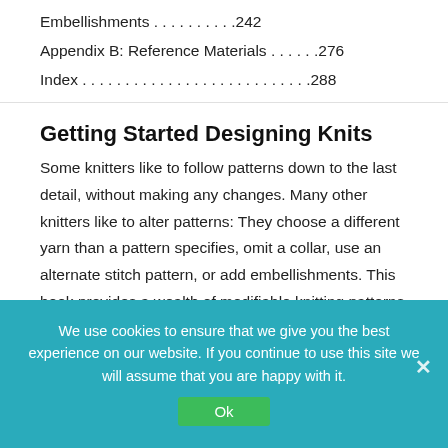Embellishments . . . . . . . . . .242
Appendix B: Reference Materials . . . . . .276
Index . . . . . . . . . . . . . . . . . . . . . . . . . . .288
Getting Started Designing Knits
Some knitters like to follow patterns down to the last detail, without making any changes. Many other knitters like to alter patterns: They choose a different yarn than a pattern specifies, omit a collar, use an alternate stitch pattern, or add embellishments. This book provides a wealth of modifiable knitting patterns and helps you understand how to create your own unique knit designs.
We use cookies to ensure that we give you the best experience on our website. If you continue to use this site we will assume that you are happy with it.